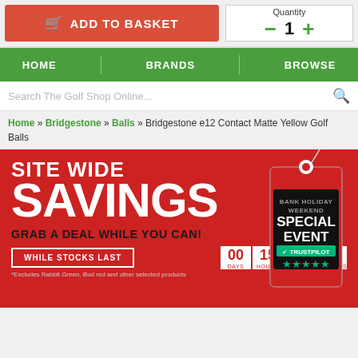[Figure (screenshot): Add to Basket button (red) and Quantity selector with minus/plus controls]
[Figure (screenshot): Green navigation bar with HOME, BRANDS, BROWSE links]
[Figure (screenshot): Search bar with placeholder 'Search The Golf Shop Online...' and magnifier icon]
Home » Bridgestone » Balls » Bridgestone e12 Contact Matte Yellow Golf Balls
[Figure (infographic): Red banner: SITE WIDE SAVINGS, GRAB A DEAL WHILE YOU CAN!, WHILE STOCKS LAST button, countdown timer 00 15 29 48 (DAYS HOURS MINUTES SECONDS), price tag with BANK HOLIDAY WEEKEND SPECIAL EVENT and Trustpilot stars. Footnote: *Excludes Rabbit Green, Bud red and other selected products.]